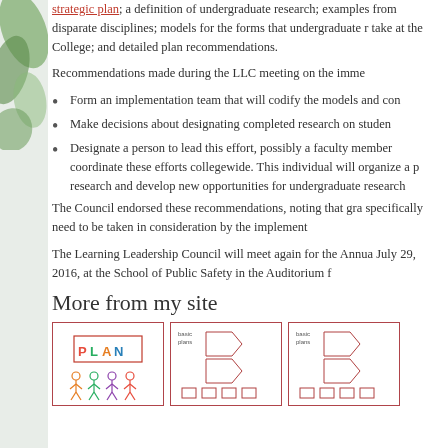strategic plan; a definition of undergraduate research; examples from disparate disciplines; models for the forms that undergraduate research can take at the College; and detailed plan recommendations.
Recommendations made during the LLC meeting on the imme...
Form an implementation team that will codify the models and con...
Make decisions about designating completed research on studen...
Designate a person to lead this effort, possibly a faculty member... coordinate these efforts collegewide. This individual will organize a p... research and develop new opportunities for undergraduate research...
The Council endorsed these recommendations, noting that gra... specifically need to be taken in consideration by the implement...
The Learning Leadership Council will meet again for the Annua... July 29, 2016, at the School of Public Safety in the Auditorium f...
More from my site
[Figure (illustration): Thumbnail image showing cartoon figures holding a PLAN sign]
[Figure (illustration): Thumbnail image showing a basic plans/flowchart diagram]
[Figure (illustration): Thumbnail image showing a basic plans/flowchart diagram (variant)]